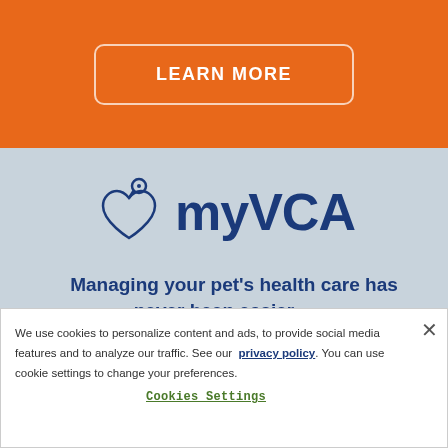[Figure (other): Orange background section with LEARN MORE button in white outlined rounded rectangle]
[Figure (logo): myVCA logo with heart and tag icon on blue-gray background]
Managing your pet's health care has never been easier
We use cookies to personalize content and ads, to provide social media features and to analyze our traffic. See our privacy policy. You can use cookie settings to change your preferences.
Cookies Settings